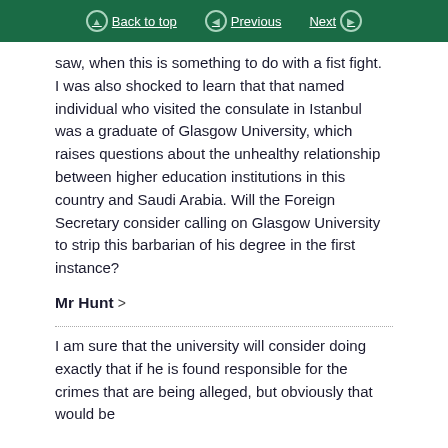Back to top | Previous | Next
saw, when this is something to do with a fist fight. I was also shocked to learn that that named individual who visited the consulate in Istanbul was a graduate of Glasgow University, which raises questions about the unhealthy relationship between higher education institutions in this country and Saudi Arabia. Will the Foreign Secretary consider calling on Glasgow University to strip this barbarian of his degree in the first instance?
Mr Hunt >
I am sure that the university will consider doing exactly that if he is found responsible for the crimes that are being alleged, but obviously that would be